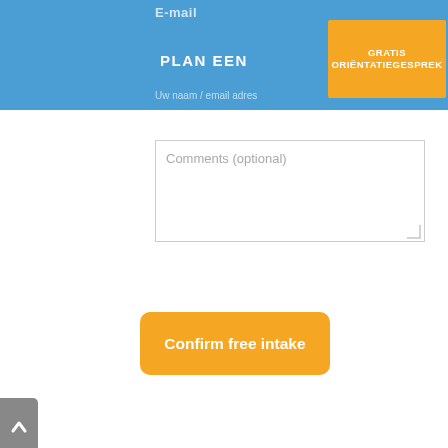E-mail
[Figure (screenshot): Blue navigation bar with 'PLAN EEN' text on left and orange button 'GRATIS ORIËNTATIEGESPREK' on right]
Comments (optional)
[Figure (screenshot): Orange rounded button labeled 'Confirm free intake']
[Figure (screenshot): Gray scroll-to-top button with upward chevron arrow on the left edge]